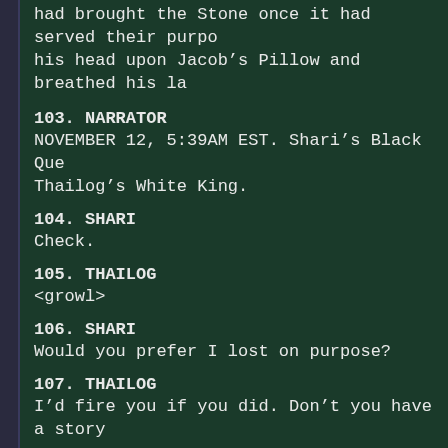had brought the Stone once it had served their purpose his head upon Jacob’s Pillow and breathed his la
103. NARRATOR
NOVEMBER 12, 5:39AM EST. Shari’s Black Que Thailog’s White King.
104. SHARI
Check.
105. THAILOG
<growl>
106. SHARI
Would you prefer I lost on purpose?
107. THAILOG
I’d fire you if you did. Don’t you have a story
108. SHARI
The story is told – though who can say if it be true Fergus, who united the Kingdoms of Scotland and wa Stone at Scone. As would all the Heirs of Scota – f